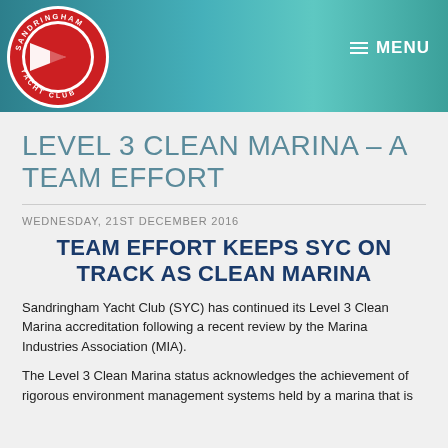MENU
[Figure (logo): Sandringham Yacht Club circular logo with red background, white pennant/sail graphic, and text around the border reading SANDRINGHAM YACHT CLUB]
LEVEL 3 CLEAN MARINA – A TEAM EFFORT
WEDNESDAY, 21ST DECEMBER 2016
TEAM EFFORT KEEPS SYC ON TRACK AS CLEAN MARINA
Sandringham Yacht Club (SYC) has continued its Level 3 Clean Marina accreditation following a recent review by the Marina Industries Association (MIA).
The Level 3 Clean Marina status acknowledges the achievement of rigorous environment management systems held by a marina that is